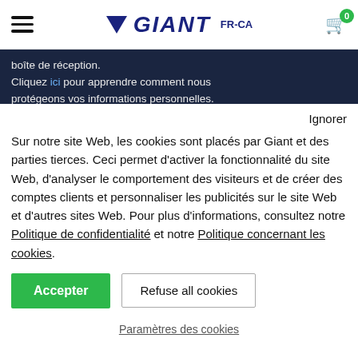GIANT FR-CA [cart: 0]
boîte de réception.
Cliquez ici pour apprendre comment nous protégeons vos informations personnelles.
Ignorer
Sur notre site Web, les cookies sont placés par Giant et des parties tierces. Ceci permet d'activer la fonctionnalité du site Web, d'analyser le comportement des visiteurs et de créer des comptes clients et personnaliser les publicités sur le site Web et d'autres sites Web. Pour plus d'informations, consultez notre Politique de confidentialité et notre Politique concernant les cookies.
Accepter | Refuse all cookies
Paramètres des cookies